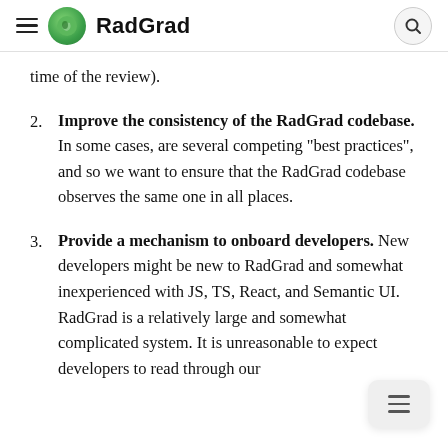Radgrad
time of the review).
Improve the consistency of the RadGrad codebase. In some cases, are several competing "best practices", and so we want to ensure that the RadGrad codebase observes the same one in all places.
Provide a mechanism to onboard developers. New developers might be new to RadGrad and somewhat inexperienced with JS, TS, React, and Semantic UI. RadGrad is a relatively large and somewhat complicated system. It is unreasonable to expect developers to read through our